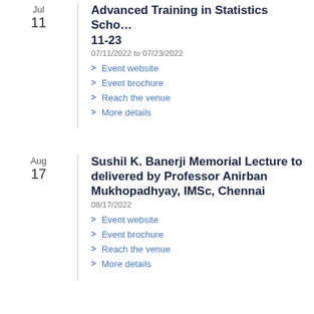Jul
11
Advanced Training in Statistics Scho… 11-23
07/11/2022 to 07/23/2022
Event website
Event brochure
Reach the venue
More details
Aug
17
Sushil K. Banerji Memorial Lecture to be delivered by Professor Anirban Mukhopadhyay, IMSc, Chennai
08/17/2022
Event website
Event brochure
Reach the venue
More details